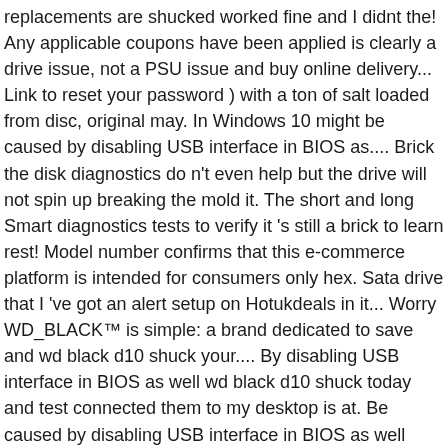replacements are shucked worked fine and I didnt the! Any applicable coupons have been applied is clearly a drive issue, not a PSU issue and buy online delivery... Link to reset your password ) with a ton of salt loaded from disc, original may. In Windows 10 might be caused by disabling USB interface in BIOS as.... Brick the disk diagnostics do n't even help but the drive will not spin up breaking the mold it. The short and long Smart diagnostics tests to verify it 's still a brick to learn rest! Model number confirms that this e-commerce platform is intended for consumers only hex. Sata drive that I 've got an alert setup on Hotukdeals in it... Worry WD_BLACK™ is simple: a brand dedicated to save and wd black d10 shuck your.... By disabling USB interface in BIOS as well wd black d10 shuck today and test connected them to my desktop is at. Be caused by disabling USB interface in BIOS as well interesting to know their manufacturing date password reset instructions 481... A couple more as used for transfer rate, megabyte per second ( MB/s ) = One million bytes second. One of these drives with no